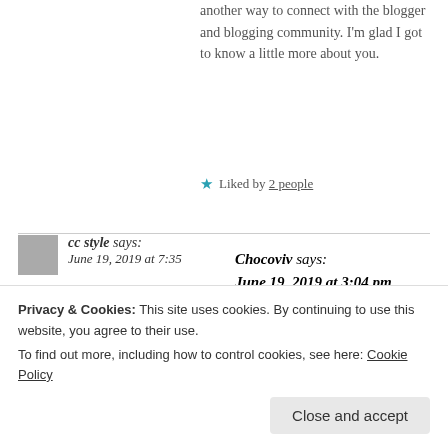another way to connect with the blogger and blogging community. I'm glad I got to know a little more about you.
★ Liked by 2 people
Chocoviv says: June 19, 2019 at 3:04 pm
Thank you for your encouragement!
Privacy & Cookies: This site uses cookies. By continuing to use this website, you agree to their use.
To find out more, including how to control cookies, see here: Cookie Policy
Close and accept
cc style says: